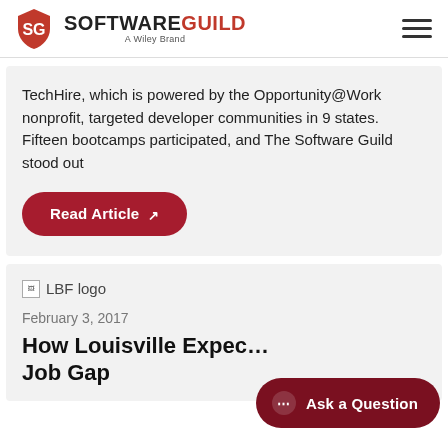[Figure (logo): Software Guild logo with shield icon and 'A Wiley Brand' subtitle, plus hamburger menu icon in header]
TechHire, which is powered by the Opportunity@Work nonprofit, targeted developer communities in 9 states. Fifteen bootcamps participated, and The Software Guild stood out
Read Article
[Figure (logo): LBF logo (broken image placeholder)]
February 3, 2017
How Louisville Expec… Job Gap